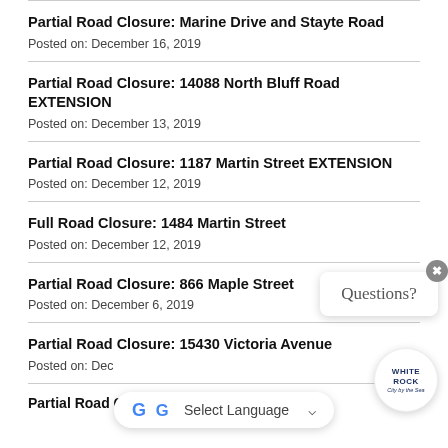Partial Road Closure: Marine Drive and Stayte Road
Posted on: December 16, 2019
Partial Road Closure: 14088 North Bluff Road EXTENSION
Posted on: December 13, 2019
Partial Road Closure: 1187 Martin Street EXTENSION
Posted on: December 12, 2019
Full Road Closure: 1484 Martin Street
Posted on: December 12, 2019
Partial Road Closure: 866 Maple Street
Posted on: December 6, 2019
Partial Road Closure: 15430 Victoria Avenue
Posted on: December [partial]
Partial Road Closure: 1475 Johnston Road [partial]